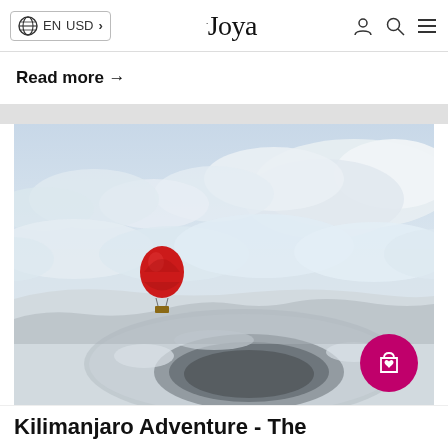EN  USD  Joya
Read more →
[Figure (photo): Aerial photo of a red hot air balloon floating above the snow-covered crater of Kilimanjaro, with clouds in the background and the volcanic crater visible below.]
Kilimanjaro Adventure - The